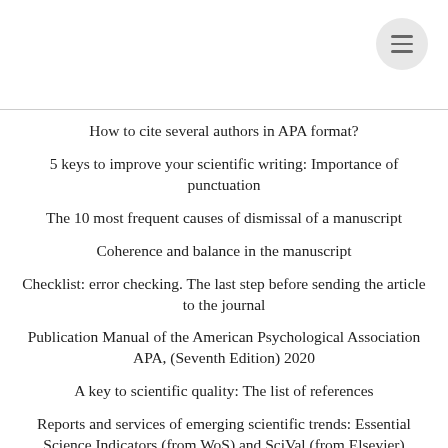How to cite several authors in APA format?
5 keys to improve your scientific writing: Importance of punctuation
The 10 most frequent causes of dismissal of a manuscript
Coherence and balance in the manuscript
Checklist: error checking. The last step before sending the article to the journal
Publication Manual of the American Psychological Association APA, (Seventh Edition) 2020
A key to scientific quality: The list of references
Reports and services of emerging scientific trends: Essential Science Indicators (from WoS) and SciVal (from Elsevier)
Is it necessary to put yourself in the place of the reader?
‘Comunicar’ is consolidated in JCRR- 2018 as the best Social